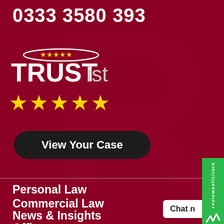0333 3580 393
[Figure (logo): TRUSTist logo with five stars above and white oval/halo design, text reads TRUST in white bold and 'ist' in lighter weight]
[Figure (other): Five yellow star rating icons]
View Your Case
Personal Law
Commercial Law
News & Insights
Offices
[Figure (logo): reviewsolicitors green sidebar badge with checkmark/wing logo]
Chat n